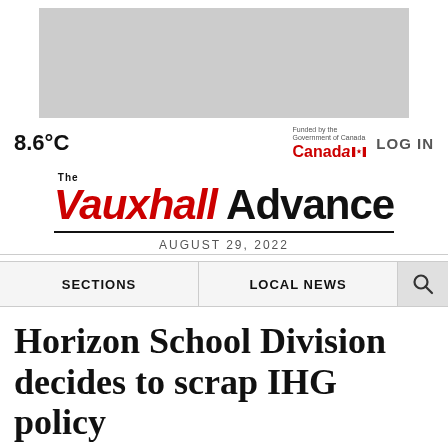[Figure (other): Gray advertisement banner placeholder at top of page]
8.6°C   Funded by the Government of Canada — Canada [flag]   LOG IN
The Vauxhall Advance
AUGUST 29, 2022
SECTIONS   LOCAL NEWS   [Search icon]
Horizon School Division decides to scrap IHG policy